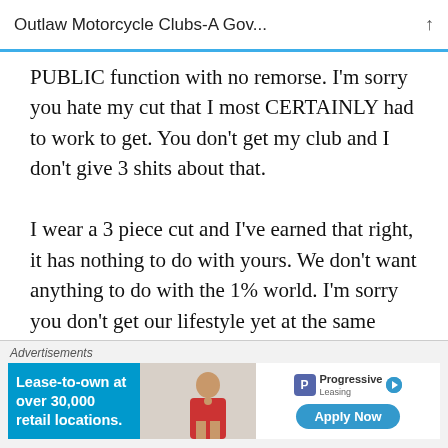Outlaw Motorcycle Clubs-A Gov...
PUBLIC function with no remorse. I'm sorry you hate my cut that I most CERTAINLY had to work to get. You don't get my club and I don't give 3 shits about that.
I wear a 3 piece cut and I've earned that right, it has nothing to do with yours. We don't want anything to do with the 1% world. I'm sorry you don't get our lifestyle yet at the same time don't care.
[Figure (screenshot): Advertisement bar at bottom showing: 'Advertisements' label, a blue box with 'Lease-to-own at over 30,000 retail locations.', a photo of a person, and Progressive Leasing logo with 'Apply Now' button.]